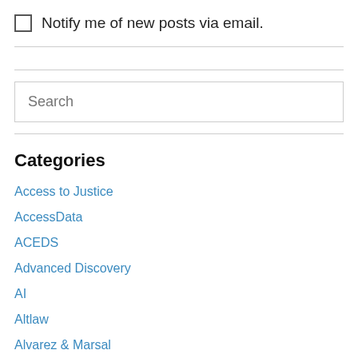Notify me of new posts via email.
Categories
Access to Justice
AccessData
ACEDS
Advanced Discovery
AI
Altlaw
Alvarez & Marsal
Analytics